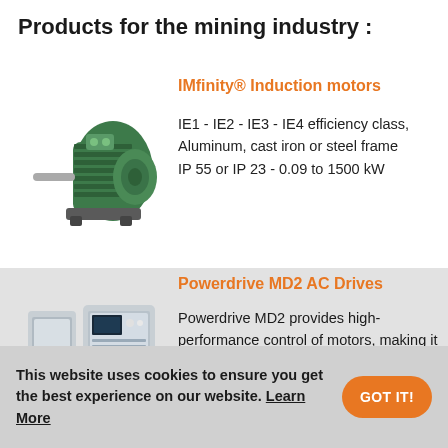Products for the mining industry :
IMfinity® Induction motors
[Figure (photo): Green industrial induction motor with shaft, aluminum/cast iron frame]
IE1 - IE2 - IE3 - IE4 efficiency class, Aluminum, cast iron or steel frame IP 55 or IP 23 - 0.09 to 1500 kW
Powerdrive MD2 AC Drives
[Figure (photo): Powerdrive MD2 AC drive units - two cabinet-style variable speed drives]
Powerdrive MD2 provides high-performance control of motors, making it the ideal choice for any industrial or commercial variable speed application up to 2800 kW
This website uses cookies to ensure you get the best experience on our website. Learn More